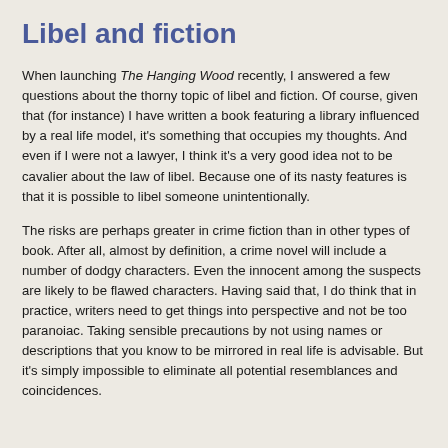Libel and fiction
When launching The Hanging Wood recently, I answered a few questions about the thorny topic of libel and fiction. Of course, given that (for instance) I have written a book featuring a library influenced by a real life model, it's something that occupies my thoughts. And even if I were not a lawyer, I think it's a very good idea not to be cavalier about the law of libel. Because one of its nasty features is that it is possible to libel someone unintentionally.
The risks are perhaps greater in crime fiction than in other types of book. After all, almost by definition, a crime novel will include a number of dodgy characters. Even the innocent among the suspects are likely to be flawed characters. Having said that, I do think that in practice, writers need to get things into perspective and not be too paranoiac. Taking sensible precautions by not using names or descriptions that you know to be mirrored in real life is advisable. But it's simply impossible to eliminate all potential resemblances and coincidences.